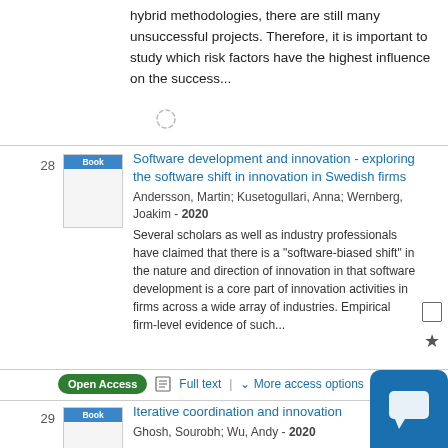hybrid methodologies, there are still many unsuccessful projects. Therefore, it is important to study which risk factors have the highest influence on the success...
[Figure (other): Loading spinner icon]
28 — Book: Software development and innovation - exploring the software shift in innovation in Swedish firms. Andersson, Martin; Kusetogullari, Anna; Wernberg, Joakim - 2020. Several scholars as well as industry professionals have claimed that there is a "software-biased shift" in the nature and direction of innovation in that software development is a core part of innovation activities in firms across a wide array of industries. Empirical firm-level evidence of such...
Open Access | Full text | More access options
29 — Book: Iterative coordination and innovation. Ghosh, Sourobh; Wu, Andy - 2020